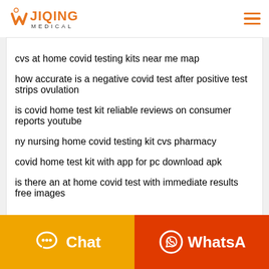WJIQING MEDICAL
cvs at home covid testing kits near me map
how accurate is a negative covid test after positive test strips ovulation
is covid home test kit reliable reviews on consumer reports youtube
ny nursing home covid testing kit cvs pharmacy
covid home test kit with app for pc download apk
is there an at home covid test with immediate results free images
Products you may be interested in
Chat
WhatsA